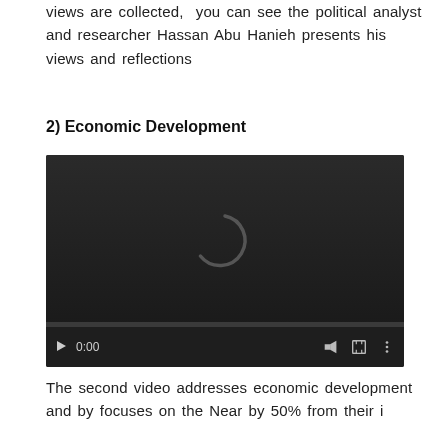views are collected, you can see the political analyst and researcher Hassan Abu Hanieh presents his views and reflections
2) Economic Development
[Figure (screenshot): Embedded video player with dark background, loading spinner in center, playback controls at bottom showing 0:00 timestamp, volume, fullscreen, and menu icons, with a progress bar.]
The second video addresses economic development and focuses on the Near by 50% from their i